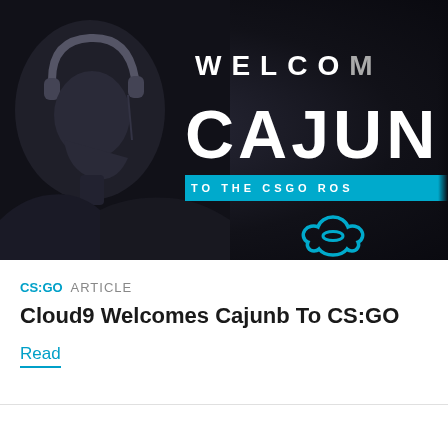[Figure (photo): Dark themed banner image for Cloud9 esports. Shows a person wearing headphones in profile on the left (black and white), and on the right side bold white text reading 'WELCOM' (partially cropped), 'CAJUN' (partially cropped) in large letters, a cyan/teal blue bar reading 'TO THE CSGO ROS' (partially cropped), and the Cloud9 logo (cloud icon) below. Dark background overall.]
CS:GO ARTICLE
Cloud9 Welcomes Cajunb To CS:GO
Read